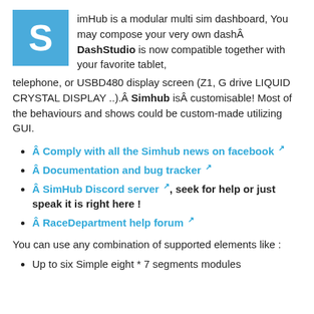imHub is a modular multi sim dashboard, You may compose your very own dashÂ DashStudio is now compatible together with your favorite tablet, telephone, or USBD480 display screen (Z1, G drive LIQUID CRYSTAL DISPLAY ..).Â Simhub isÂ customisable! Most of the behaviours and shows could be custom-made utilizing GUI.
Â Comply with all the Simhub news on facebook ↗
Â Documentation and bug tracker ↗
Â SimHub Discord server ↗, seek for help or just speak it is right here !
Â RaceDepartment help forum ↗
You can use any combination of supported elements like :
Up to six Simple eight * 7 segments modules